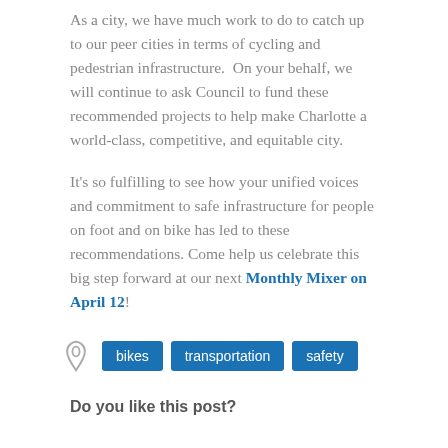As a city, we have much work to do to catch up to our peer cities in terms of cycling and pedestrian infrastructure.  On your behalf, we will continue to ask Council to fund these recommended projects to help make Charlotte a world-class, competitive, and equitable city.
It's so fulfilling to see how your unified voices and commitment to safe infrastructure for people on foot and on bike has led to these recommendations. Come help us celebrate this big step forward at our next Monthly Mixer on April 12!
bikes  transportation  safety
Do you like this post?